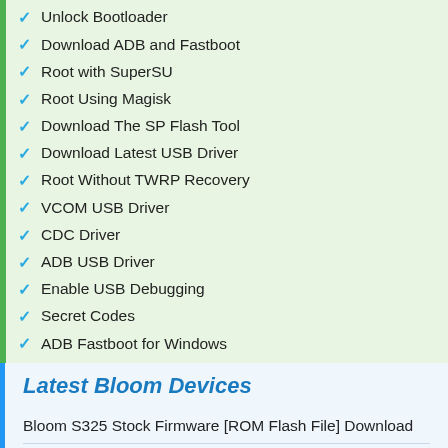Unlock Bootloader
Download ADB and Fastboot
Root with SuperSU
Root Using Magisk
Download The SP Flash Tool
Download Latest USB Driver
Root Without TWRP Recovery
VCOM USB Driver
CDC Driver
ADB USB Driver
Enable USB Debugging
Secret Codes
ADB Fastboot for Windows
Latest Bloom Devices
Bloom S325 Stock Firmware [ROM Flash File] Download
Bloom S3600 Stock Firmware [ROM Flash File] Download
Bloom BY011 Stock Firmware [ROM Flash File] Download